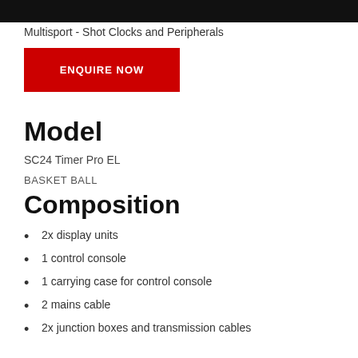[Figure (photo): Dark image bar at top of page showing a product (shot clock / display unit)]
Multisport - Shot Clocks and Peripherals
ENQUIRE NOW
Model
SC24 Timer Pro EL
BASKET BALL
Composition
2x display units
1 control console
1 carrying case for control console
2 mains cable
2x junction boxes and transmission cables